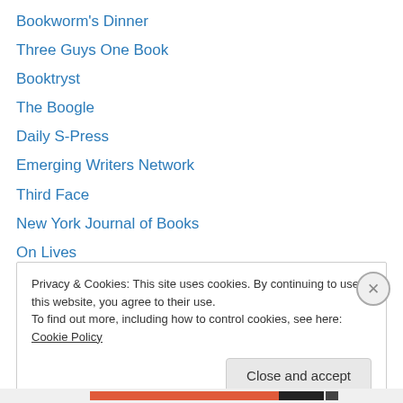Bookworm's Dinner
Three Guys One Book
Booktryst
The Boogle
Daily S-Press
Emerging Writers Network
Third Face
New York Journal of Books
On Lives
Midwest Book Review
Books, Personally
The Word Zombie
Driftless Area Review
Privacy & Cookies: This site uses cookies. By continuing to use this website, you agree to their use. To find out more, including how to control cookies, see here: Cookie Policy
Close and accept